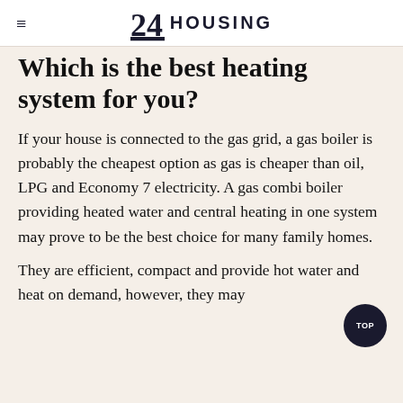24 HOUSING
Which is the best heating system for you?
If your house is connected to the gas grid, a gas boiler is probably the cheapest option as gas is cheaper than oil, LPG and Economy 7 electricity. A gas combi boiler providing heated water and central heating in one system may prove to be the best choice for many family homes.
They are efficient, compact and provide hot water and heat on demand, however, they may